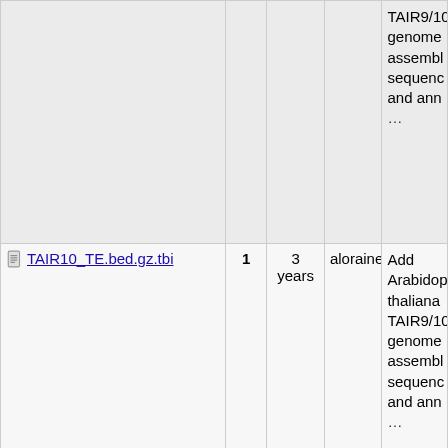| Name | Rev | Age | User | Message |
| --- | --- | --- | --- | --- |
|  |  |  |  | TAIR9/10 genome assembl sequence and anne … |
| TAIR10_TE.bed.gz.tbi | 1 | 3 years | aloraine | Add Arabidop thaliana TAIR9/10 genome assembl sequence and anne … |
| TDNA.bed.gz.tbi | 1 | 3 years | aloraine | Add Arabidop thaliana TAIR9/10 genome assembl sequence and anne … |
| TAIR10_snRNA.bed.gz.tbi | 1 | 3 | aloraine | Add |